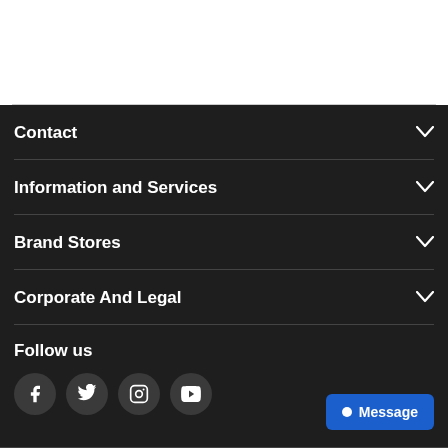Contact
Information and Services
Brand Stores
Corporate And Legal
Follow us
[Figure (other): Social media icons: Facebook, Twitter, Instagram, YouTube]
Message